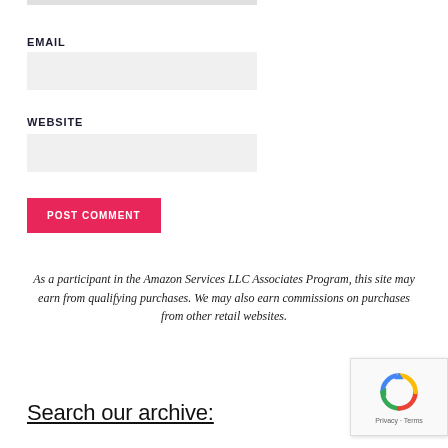EMAIL
WEBSITE
POST COMMENT
As a participant in the Amazon Services LLC Associates Program, this site may earn from qualifying purchases. We may also earn commissions on purchases from other retail websites.
Search our archive: